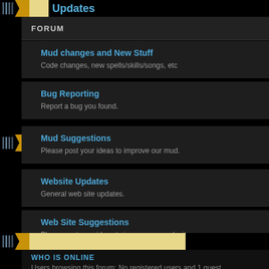Updates
FORUM
Mud changes and New Stuff
Code changes, new spells/skills/songs, etc
Bug Reporting
Report a bug you found.
Mud Suggestions
Please post your ideas to improve our mud.
Website Updates
General web site updates.
Web Site Suggestions
Please post your ideas to improve our web site.
WHO IS ONLINE
Users browsing this forum: No registered users and 1 guest